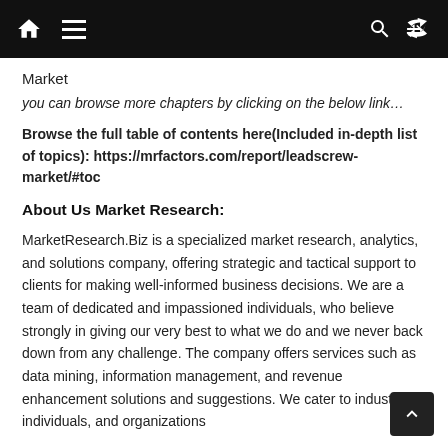Market
you can browse more chapters by clicking on the below link…
Browse the full table of contents here(Included in-depth list of topics): https://mrfactors.com/report/leadscrew-market/#toc
About Us Market Research:
MarketResearch.Biz is a specialized market research, analytics, and solutions company, offering strategic and tactical support to clients for making well-informed business decisions. We are a team of dedicated and impassioned individuals, who believe strongly in giving our very best to what we do and we never back down from any challenge. The company offers services such as data mining, information management, and revenue enhancement solutions and suggestions. We cater to industries, individuals, and organizations